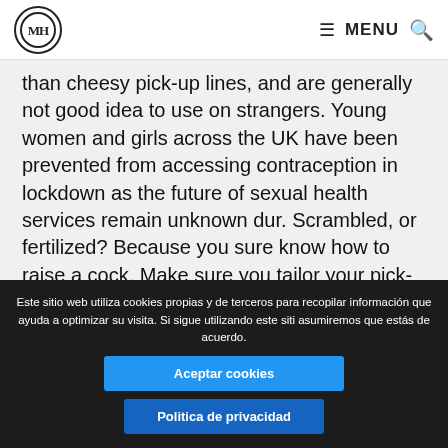MH MENU
than cheesy pick-up lines, and are generally not good idea to use on strangers. Young women and girls across the UK have been prevented from accessing contraception in lockdown as the future of sexual health services remain unknown dur. Scrambled, or fertilized? Because you sure know how to raise a cock. Make sure you tailor your pick-up lines to your intension s and most of all have fun. You'll be the door and I'll slam you. Because you sure know how to raise a cock. Skip navigation! So, here are the best dirty pick-up lines on Reddit. These may be one of the only indirect pickups that girls will interpret as a pickup, either way, the aim is to make them laugh. Since you're getting to know each
Este sitio web utiliza cookies propias y de terceros para recopilar información que ayuda a optimizar su visita. Si sigue utilizando este sitio asumiremos que estás de acuerdo.
Aceptar cookies
Politica de privacidad